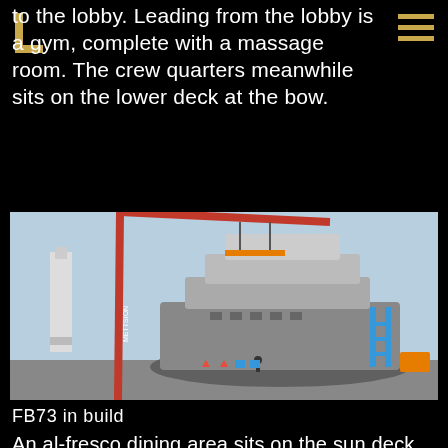to the lobby. Leading from the lobby is a gym, complete with a massage room. The crew quarters meanwhile sits on the lower deck at the bow.
[Figure (photo): Large luxury yacht under construction in a shipyard, being lifted by a red crane. A lighthouse is visible in the background to the left. Scaffolding is visible on the right side of the vessel.]
FB73 in build
An al-fresco dining area sits on the sun deck connected to an “interior veranda”. The captain’s